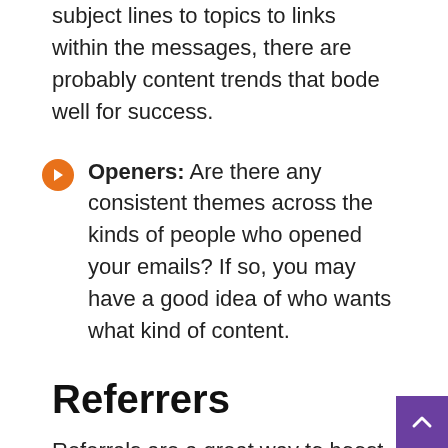subject lines to topics to links within the messages, there are probably content trends that bode well for success.
Openers: Are there any consistent themes across the kinds of people who opened your emails? If so, you may have a good idea of who wants what kind of content.
Referrers
Referrals are a great way to boost the visibility of your content, which is why referral activity is one of the best metrics to pay attention to.